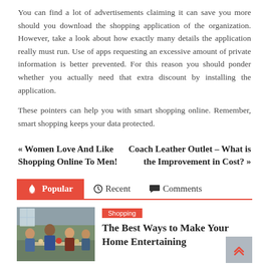You can find a lot of advertisements claiming it can save you more should you download the shopping application of the organization. However, take a look about how exactly many details the application really must run. Use of apps requesting an excessive amount of private information is better prevented. For this reason you should ponder whether you actually need that extra discount by installing the application.
These pointers can help you with smart shopping online. Remember, smart shopping keeps your data protected.
« Women Love And Like Shopping Online To Men!
Coach Leather Outlet – What is the Improvement in Cost? »
Popular   Recent   Comments
Shopping
The Best Ways to Make Your Home Entertaining
[Figure (photo): Photo of people socializing around a table with food and drinks]